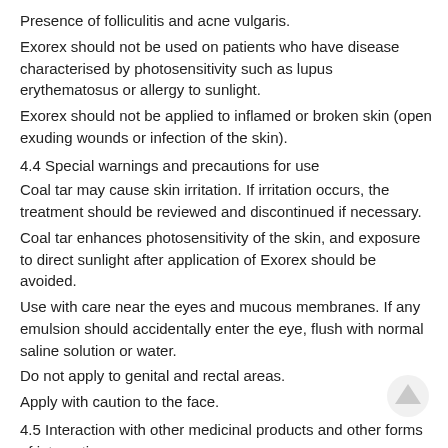Presence of folliculitis and acne vulgaris.
Exorex should not be used on patients who have disease characterised by photosensitivity such as lupus erythematosus or allergy to sunlight.
Exorex should not be applied to inflamed or broken skin (open exuding wounds or infection of the skin).
4.4 Special warnings and precautions for use
Coal tar may cause skin irritation. If irritation occurs, the treatment should be reviewed and discontinued if necessary.
Coal tar enhances photosensitivity of the skin, and exposure to direct sunlight after application of Exorex should be avoided.
Use with care near the eyes and mucous membranes. If any emulsion should accidentally enter the eye, flush with normal saline solution or water.
Do not apply to genital and rectal areas.
Apply with caution to the face.
4.5 Interaction with other medicinal products and other forms of interaction
None known.
4.6 Pregnancy and lactation
There is inadequate evidence of safety in pregnant and lactating women but coal tar preparations have been in use for many years